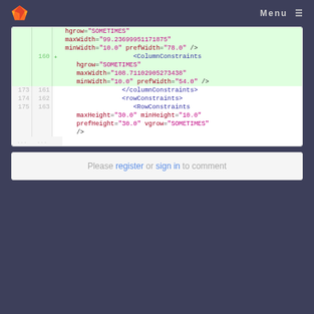GitLab — Menu
[Figure (screenshot): Code diff viewer showing XML/FXML code with line numbers. Added lines (green background) show ColumnConstraints elements with hgrow, maxWidth, minWidth, prefWidth attributes. Normal lines show columnConstraints closing tag, rowConstraints, and RowConstraints elements.]
Please register or sign in to comment